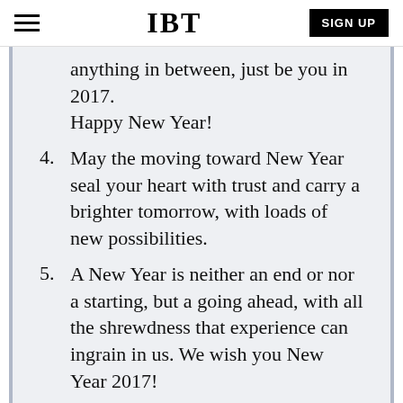IBT | SIGN UP
anything in between, just be you in 2017. Happy New Year!
4. May the moving toward New Year seal your heart with trust and carry a brighter tomorrow, with loads of new possibilities.
5. A New Year is neither an end or nor a starting, but a going ahead, with all the shrewdness that experience can ingrain in us. We wish you New Year 2017!
6. Cheers to a better life and a bright future. Have a prosperous New Year!
7. Make your New Year a blast of fun, full of cheer and warm greetings for everyone. Have a healthy New Year!